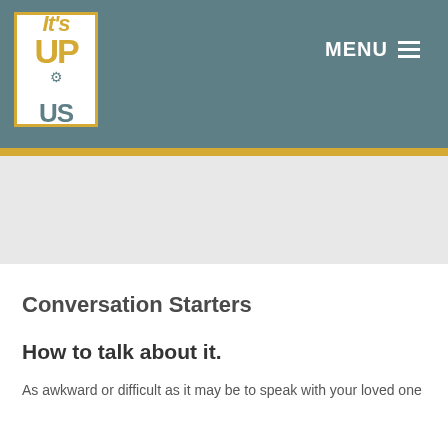[Figure (logo): It's UP to US logo - yellow text on white background with teal border]
MENU ☰
[Figure (photo): Grey hero banner/image area]
Conversation Starters
How to talk about it.
As awkward or difficult as it may be to speak with your loved one